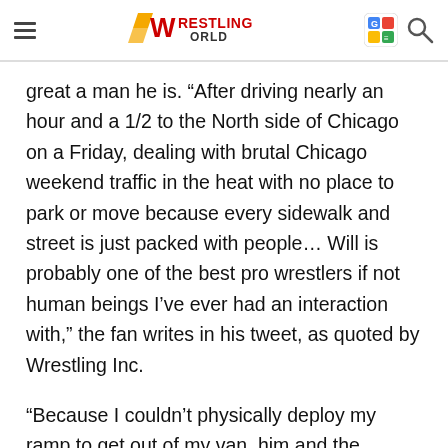Wrestling World
great a man he is. “After driving nearly an hour and a 1/2 to the North side of Chicago on a Friday, dealing with brutal Chicago weekend traffic in the heat with no place to park or move because every sidewalk and street is just packed with people… Will is probably one of the best pro wrestlers if not human beings I’ve ever had an interaction with,” the fan writes in his tweet, as quoted by Wrestling Inc.
“Because I couldn’t physically deploy my ramp to get out of my van, him and the amazing Warrior Wrestling staff were kind enough to just meet me